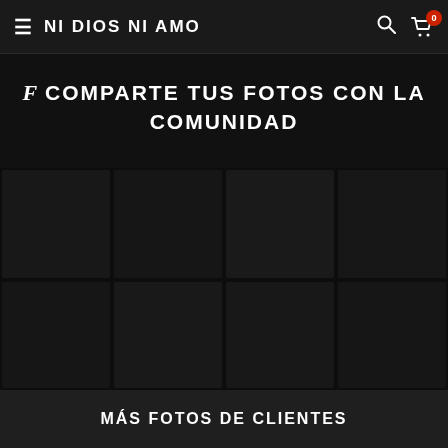≡  NI DIOS NI AMO  🔍 🛒 0
f  COMPARTE TUS FOTOS CON LA COMUNIDAD
[Figure (photo): Dark background photo grid area showing faint images of products/clothing worn by customers]
MÁS FOTOS DE CLIENTES